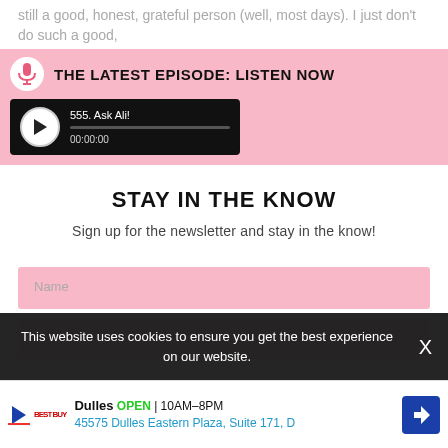still a good, honest, grateful person (well, most days). I just don't do such a good,
THE LATEST EPISODE: LISTEN NOW
[Figure (screenshot): Audio player widget showing episode '555. Ask Ali!' with play button, progress bar, and timestamp 00:00:00]
STAY IN THE KNOW
Sign up for the newsletter and stay in the know!
Name
Email
This website uses cookies to ensure you get the best experience on our website.
Dulles  OPEN  10AM–8PM  45575 Dulles Eastern Plaza, Suite 171, D